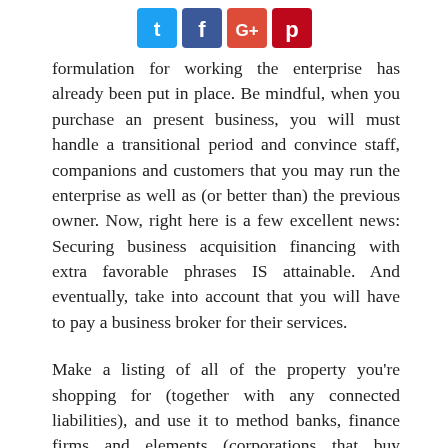[Figure (other): Social media sharing buttons: Twitter, Facebook, Google+, Pinterest]
formulation for working the enterprise has already been put in place. Be mindful, when you purchase an present business, you will must handle a transitional period and convince staff, companions and customers that you may run the enterprise as well as (or better than) the previous owner. Now, right here is a few excellent news: Securing business acquisition financing with extra favorable phrases IS attainable. And eventually, take into account that you will have to pay a business broker for their services.
Make a listing of all of the property you're shopping for (together with any connected liabilities), and use it to method banks, finance firms and elements (corporations that buy accounts receivable). Indian Diaspora to contribute to emergence of India Indians…